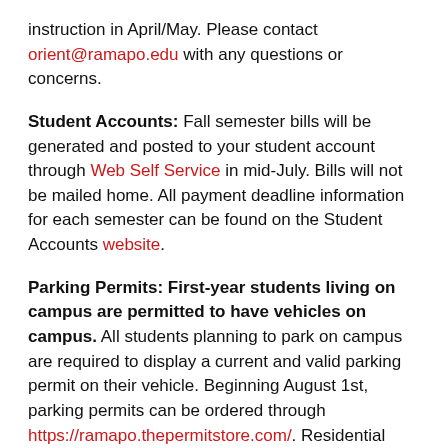instruction in April/May. Please contact orient@ramapo.edu with any questions or concerns.
Student Accounts: Fall semester bills will be generated and posted to your student account through Web Self Service in mid-July. Bills will not be mailed home. All payment deadline information for each semester can be found on the Student Accounts website.
Parking Permits: First-year students living on campus are permitted to have vehicles on campus. All students planning to park on campus are required to display a current and valid parking permit on their vehicle. Beginning August 1st, parking permits can be ordered through https://ramapo.thepermitstore.com/. Residential students must have their housing assignment before ordering. Commuter students receive a rearview mirror hangtag to allow the registration of two vehicles